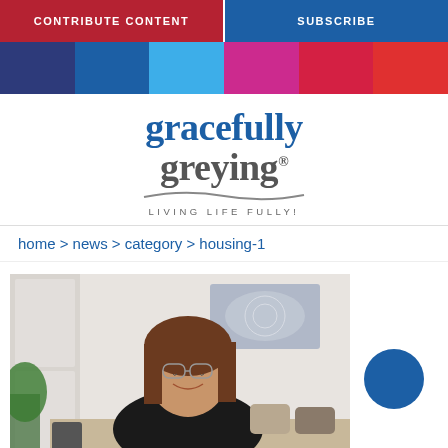CONTRIBUTE CONTENT | SUBSCRIBE
[Figure (infographic): Horizontal color bar with 6 color blocks: dark navy, medium blue, light blue, magenta/pink, crimson, red]
[Figure (logo): Gracefully Greying logo with tagline 'LIVING LIFE FULLY!']
home > news > category > housing-1
[Figure (photo): Woman with brown hair and glasses smiling, seated at a desk, with a plant and decorative wall art in the background]